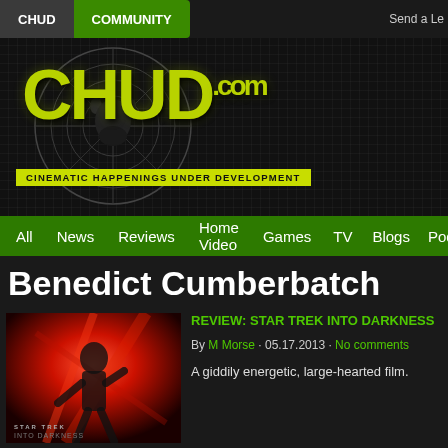CHUD | COMMUNITY | Send a Le...
[Figure (logo): CHUD.com logo with circular background graphic and tagline 'CINEMATIC HAPPENINGS UNDER DEVELOPMENT']
All  News  Reviews  Home Video  Games  TV  Blogs  Pod...
Benedict Cumberbatch
[Figure (photo): Star Trek Into Darkness movie poster thumbnail with red tones showing a running figure]
REVIEW: STAR TREK INTO DARKNESS
By M Morse · 05.17.2013 · No comments
A giddily energetic, large-hearted film.
[Figure (photo): Movie clapperboard thumbnail with Star Trek Into Darkness written on it]
MOVIE CURIOSITIES: STAR TREK INTO...
By williamb · 05.17.2013 · No comments